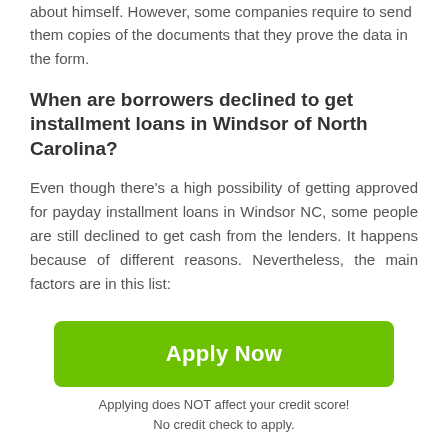about himself. However, some companies require to send them copies of the documents that they prove the data in the form.
When are borrowers declined to get installment loans in Windsor of North Carolina?
Even though there's a high possibility of getting approved for payday installment loans in Windsor NC, some people are still declined to get cash from the lenders. It happens because of different reasons. Nevertheless, the main factors are in this list:
Incorrect data. It's essential to check the information
[Figure (other): Scroll to top button - dark grey square with upward arrow icon]
Apply Now
Applying does NOT affect your credit score!
No credit check to apply.